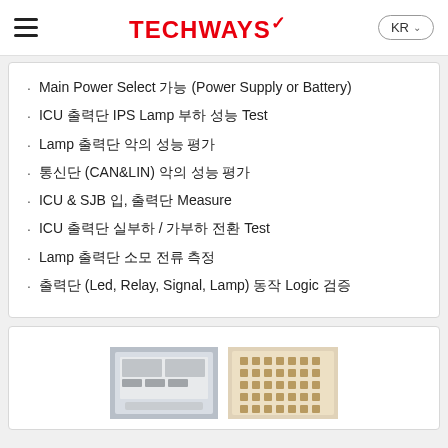TECHWAYS KR
Main Power Select 가능 (Power Supply or Battery)
ICU 출력단 IPS Lamp 부하 성능 Test
Lamp 출력단 악의 성능 평가
통신단 (CAN&LIN) 악의 성능 평가
ICU & SJB 입, 출력단 Measure
ICU 출력단 실부하 / 가부하 전환 Test
Lamp 출력단 소모 전류 측정
출력단 (Led, Relay, Signal, Lamp) 동작 Logic 검증
[Figure (photo): Two equipment/hardware photos side by side: left shows a white panel-mounted hardware unit, right shows a beige grid/matrix board with components]